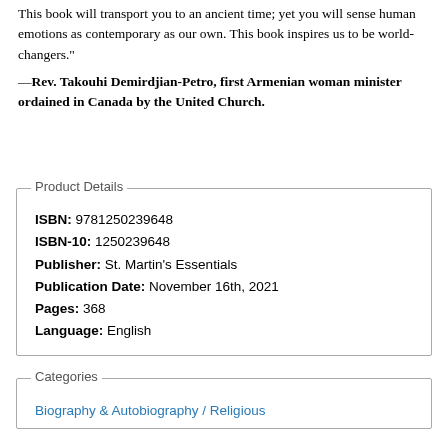This book will transport you to an ancient time; yet you will sense human emotions as contemporary as our own. This book inspires us to be world-changers."
—Rev. Takouhi Demirdjian-Petro, first Armenian woman minister ordained in Canada by the United Church.
Product Details
ISBN: 9781250239648
ISBN-10: 1250239648
Publisher: St. Martin's Essentials
Publication Date: November 16th, 2021
Pages: 368
Language: English
Categories
Biography & Autobiography / Religious